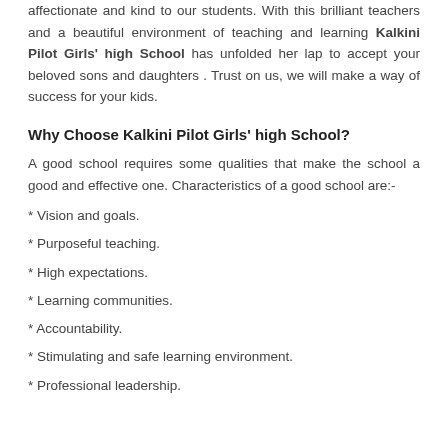affectionate and kind to our students. With this brilliant teachers and a beautiful environment of teaching and learning Kalkini Pilot Girls' high School has unfolded her lap to accept your beloved sons and daughters . Trust on us, we will make a way of success for your kids.
Why Choose Kalkini Pilot Girls' high School?
A good school requires some qualities that make the school a good and effective one. Characteristics of a good school are:-
* Vision and goals.
* Purposeful teaching.
* High expectations.
* Learning communities.
* Accountability.
* Stimulating and safe learning environment.
* Professional leadership.